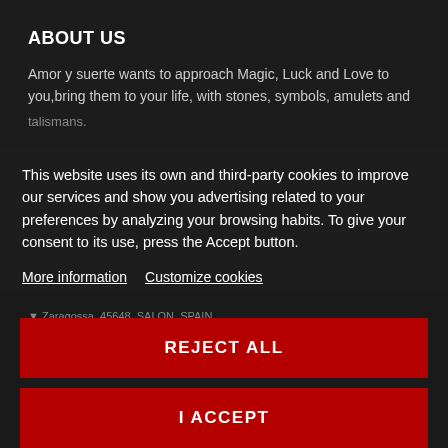ABOUT US
Amor y suerte wants to approach Magic, Luck and Love to you,bring them to your life, with stones, symbols, amulets and talismans.
This website uses its own and third-party cookies to improve our services and show you advertising related to your preferences by analyzing your browsing habits. To give your consent to its use, press the Accept button.
More information   Customize cookies
Zaragossa, 45648, SALON, SPAIN
REJECT ALL
I ACCEPT